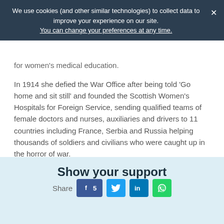We use cookies (and other similar technologies) to collect data to improve your experience on our site. You can change your preferences at any time.
for women's medical education.
In 1914 she defied the War Office after being told ‘Go home and sit still’ and founded the Scottish Women’s Hospitals for Foreign Service, sending qualified teams of female doctors and nurses, auxiliaries and drivers to 11 countries including France, Serbia and Russia helping thousands of soldiers and civilians who were caught up in the horror of war.
Report this project
Contact
Show your support
Share